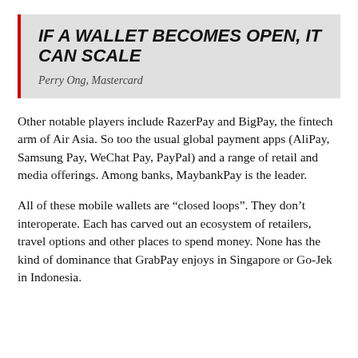IF A WALLET BECOMES OPEN, IT CAN SCALE
Perry Ong, Mastercard
Other notable players include RazerPay and BigPay, the fintech arm of Air Asia. So too the usual global payment apps (AliPay, Samsung Pay, WeChat Pay, PayPal) and a range of retail and media offerings. Among banks, MaybankPay is the leader.
All of these mobile wallets are “closed loops”. They don’t interoperate. Each has carved out an ecosystem of retailers, travel options and other places to spend money. None has the kind of dominance that GrabPay enjoys in Singapore or Go-Jek in Indonesia.